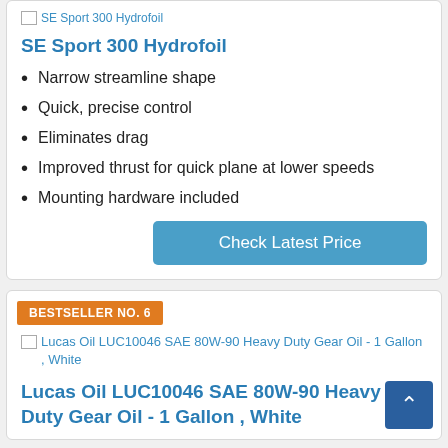[Figure (photo): Broken image placeholder for SE Sport 300 Hydrofoil]
SE Sport 300 Hydrofoil
Narrow streamline shape
Quick, precise control
Eliminates drag
Improved thrust for quick plane at lower speeds
Mounting hardware included
Check Latest Price
BESTSELLER NO. 6
[Figure (photo): Broken image placeholder for Lucas Oil LUC10046 SAE 80W-90 Heavy Duty Gear Oil - 1 Gallon , White]
Lucas Oil LUC10046 SAE 80W-90 Heavy Duty Gear Oil - 1 Gallon , White